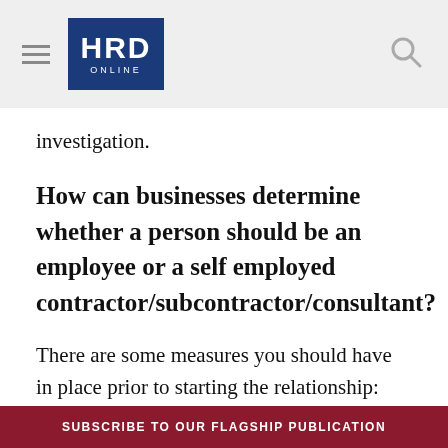HRD ONLINE
investigation.
How can businesses determine whether a person should be an employee or a self employed contractor/subcontractor/consultant?
There are some measures you should have in place prior to starting the relationship:
1. A good contract will have all the legal /
SUBSCRIBE TO OUR FLAGSHIP PUBLICATION